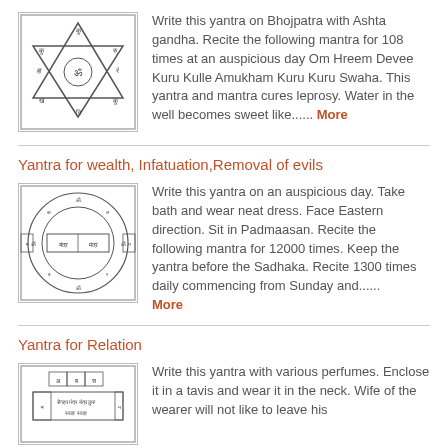[Figure (illustration): Yantra diagram with Star of David shape containing Sanskrit text]
Write this yantra on Bhojpatra with Ashta gandha. Recite the following mantra for 108 times at an auspicious day Om Hreem Devee Kuru Kulle Amukham Kuru Kuru Swaha. This yantra and mantra cures leprosy. Water in the well becomes sweet like...... More
Yantra for wealth, Infatuation,Removal of evils
[Figure (illustration): Circular yantra diagram with Sanskrit text and symbols]
Write this yantra on an auspicious day. Take bath and wear neat dress. Face Eastern direction. Sit in Padmaasan. Recite the following mantra for 12000 times. Keep the yantra before the Sadhaka. Recite 1300 times daily commencing from Sunday and...... More
Yantra for Relation
[Figure (illustration): Rectangular yantra diagram with Sanskrit text in grid]
Write this yantra with various perfumes. Enclose it in a tavis and wear it in the neck. Wife of the wearer will not like to leave his